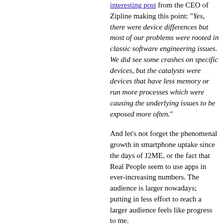interesting post from the CEO of Zipline making this point: "Yes, there were device differences but most of our problems were rooted in classic software engineering issues. We did see some crashes on specific devices, but the catalysts were devices that have less memory or run more processes which were causing the underlying issues to be exposed more often."
And let's not forget the phenomenal growth in smartphone uptake since the days of J2ME, or the fact that Real People seem to use apps in ever-increasing numbers. The audience is larger nowadays; putting in less effort to reach a larger audience feels like progress to me.
I can't help but notice that the developer TechCrunch interviewed for their story was quite accepting: "We like fragmentation as users prefer